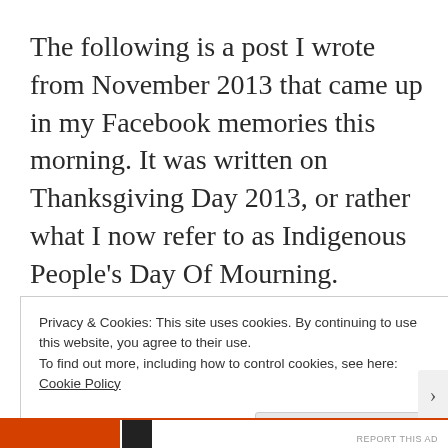The following is a post I wrote from November 2013 that came up in my Facebook memories this morning. It was written on Thanksgiving Day 2013, or rather what I now refer to as Indigenous People's Day Of Mourning. Because even
Privacy & Cookies: This site uses cookies. By continuing to use this website, you agree to their use.
To find out more, including how to control cookies, see here: Cookie Policy
Close and accept